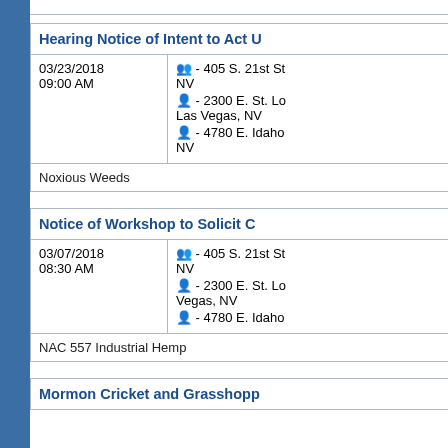| Hearing Notice of Intent to Act U... |
| --- |
| 03/23/2018 09:00 AM | 👥 - 405 S. 21st St NV
👥 - 2300 E. St. Lo... Las Vegas, NV
👥 - 4780 E. Idaho... NV |
| Noxious Weeds |  |
| Notice of Workshop to Solicit C... |
| --- |
| 03/07/2018 08:30 AM | 👥 - 405 S. 21st St NV
👥 - 2300 E. St. Lo... Vegas, NV
👥 - 4780 E. Idaho... |
| NAC 557 Industrial Hemp |  |
Mormon Cricket and Grasshopp...